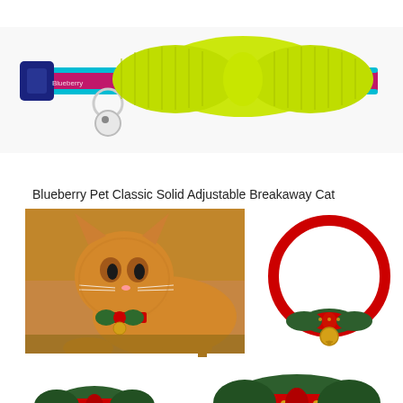[Figure (photo): A colorful cat collar with a large yellow-green grosgrain bow tie and a white bell, featuring pink and navy striped pattern with blue edging and a metal buckle.]
Blueberry Pet Classic Solid Adjustable Breakaway Cat
[Figure (photo): An orange long-haired cat wearing a red and green bow tie collar with a gold bell, lying on a wooden surface.]
[Figure (photo): A red cat collar laid in a circle with a red and green satin bow tie decorated with gold paw prints and a gold jingle bell.]
[Figure (photo): Close-up of a red and green satin bow tie collar with gold paw print pattern and gold jingle bells, with white breakaway clasp.]
[Figure (photo): Close-up of another angle of a red and green satin bow tie collar with gold paw prints and gold jingle bell.]